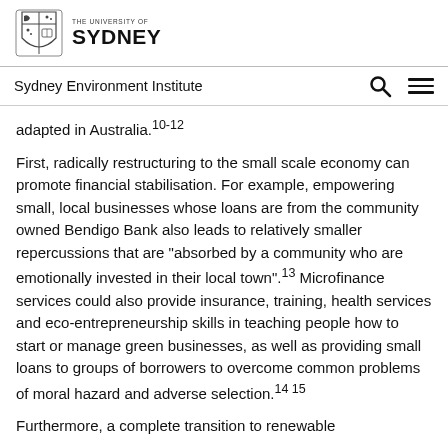The University of Sydney — Sydney Environment Institute
adapted in Australia.¹⁰⁻¹²
First, radically restructuring to the small scale economy can promote financial stabilisation. For example, empowering small, local businesses whose loans are from the community owned Bendigo Bank also leads to relatively smaller repercussions that are “absorbed by a community who are emotionally invested in their local town”.¹³ Microfinance services could also provide insurance, training, health services and eco-entrepreneurship skills in teaching people how to start or manage green businesses, as well as providing small loans to groups of borrowers to overcome common problems of moral hazard and adverse selection.¹⁴ ¹⁵
Furthermore, a complete transition to renewable